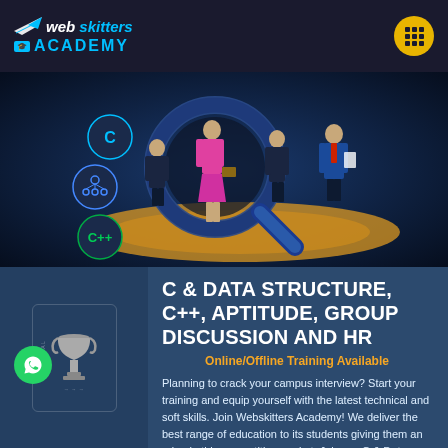Web Skitters Academy
[Figure (illustration): Campus interview preparation banner showing professionals and magnifying glass with technology icons (C, network diagram, C++) on a dark blue background]
C & DATA STRUCTURE, C++, APTITUDE, GROUP DISCUSSION AND HR
Online/Offline Training Available
Planning to crack your campus interview? Start your training and equip yourself with the latest technical and soft skills. Join Webskitters Academy! We deliver the best range of education to its students giving them an edge in this competitive market. Join our C & Data Structure, C++, Aptitude, Group Discussion and HR course and upgrade your skills for qualifying for the technical